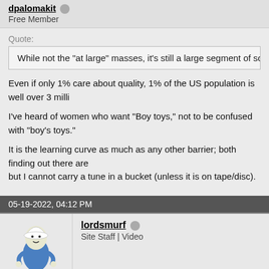dpalomakit Free Member
Quote: While not the "at large" masses, it's still a large segment of society that ex
Even if only 1% care about quality, 1% of the US population is well over 3 milli
I've heard of women who want "Boy toys," not to be confused with "boy's toys."
It is the learning curve as much as any other barrier; both finding out there are but I cannot carry a tune in a bucket (unless it is on tape/disc).
05-19-2022, 04:12 PM
lordsmurf Site Staff | Video